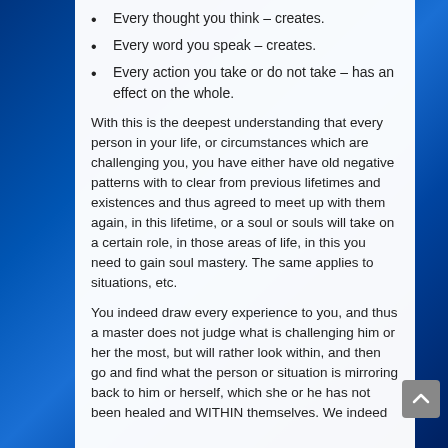Every thought you think – creates.
Every word you speak – creates.
Every action you take or do not take – has an effect on the whole.
With this is the deepest understanding that every person in your life, or circumstances which are challenging you, you have either have old negative patterns with to clear from previous lifetimes and existences and thus agreed to meet up with them again, in this lifetime, or a soul or souls will take on a certain role, in those areas of life, in this you need to gain soul mastery. The same applies to situations, etc.
You indeed draw every experience to you, and thus a master does not judge what is challenging him or her the most, but will rather look within, and then go and find what the person or situation is mirroring back to him or herself, which she or he has not been healed and WITHIN themselves. We indeed...